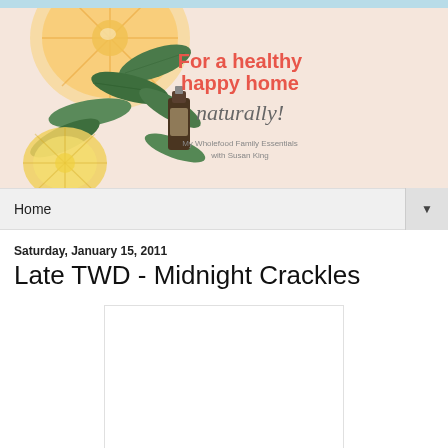[Figure (illustration): Blog header banner with citrus slices, green leaves, and essential oil bottle on a pink background. Text reads: 'For a healthy happy home naturally! My Wholefood Family Essentials with Susan King']
Home ▼
Saturday, January 15, 2011
Late TWD - Midnight Crackles
[Figure (photo): White empty image placeholder box]